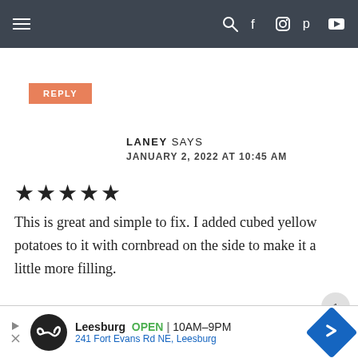Navigation bar with menu, search, facebook, instagram, pinterest, youtube icons
REPLY
LANEY SAYS
JANUARY 2, 2022 AT 10:45 AM
[Figure (other): Five star rating (5 filled stars)]
This is great and simple to fix. I added cubed yellow potatoes to it with cornbread on the side to make it a little more filling.
[Figure (other): Advertisement banner: Leesburg OPEN 10AM-9PM 241 Fort Evans Rd NE, Leesburg with logo and direction arrow]